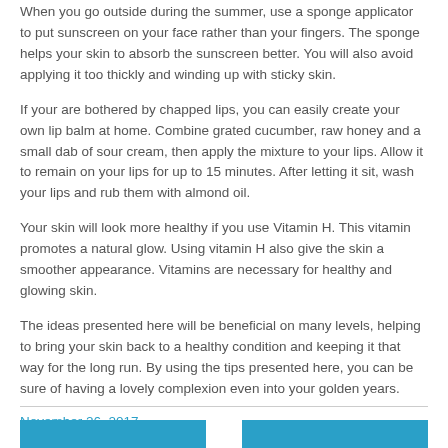When you go outside during the summer, use a sponge applicator to put sunscreen on your face rather than your fingers. The sponge helps your skin to absorb the sunscreen better. You will also avoid applying it too thickly and winding up with sticky skin.
If your are bothered by chapped lips, you can easily create your own lip balm at home. Combine grated cucumber, raw honey and a small dab of sour cream, then apply the mixture to your lips. Allow it to remain on your lips for up to 15 minutes. After letting it sit, wash your lips and rub them with almond oil.
Your skin will look more healthy if you use Vitamin H. This vitamin promotes a natural glow. Using vitamin H also give the skin a smoother appearance. Vitamins are necessary for healthy and glowing skin.
The ideas presented here will be beneficial on many levels, helping to bring your skin back to a healthy condition and keeping it that way for the long run. By using the tips presented here, you can be sure of having a lovely complexion even into your golden years.
November 26, 2017